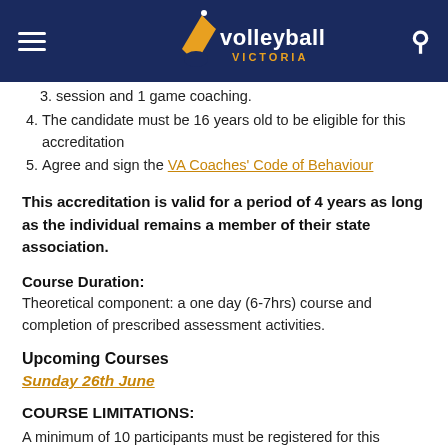[Figure (logo): Volleyball Victoria logo with dark navy header bar, hamburger menu icon on left, volleyball player silhouette with gold/blue feather logo and 'volleyball VICTORIA' text in center, search icon on right]
session and 1 game coaching.
The candidate must be 16 years old to be eligible for this accreditation
Agree and sign the VA Coaches' Code of Behaviour
This accreditation is valid for a period of 4 years as long as the individual remains a member of their state association.
Course Duration:
Theoretical component: a one day (6-7hrs) course and completion of prescribed assessment activities.
Upcoming Courses
Sunday 26th June
COURSE LIMITATIONS:
A minimum of 10 participants must be registered for this course to